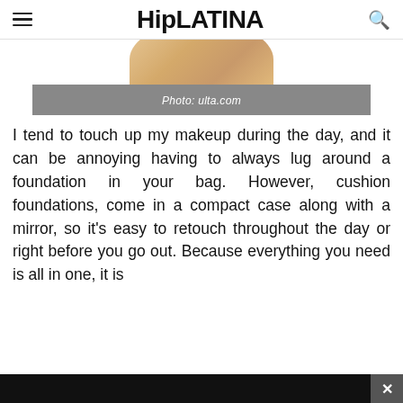HipLATINA
[Figure (photo): Partial view of a cushion foundation compact product, showing the circular beige/tan product from above, cropped at the top]
Photo: ulta.com
I tend to touch up my makeup during the day, and it can be annoying having to always lug around a foundation in your bag. However, cushion foundations, come in a compact case along with a mirror, so it’s easy to retouch throughout the day or right before you go out. Because everything you need is all in one, it is